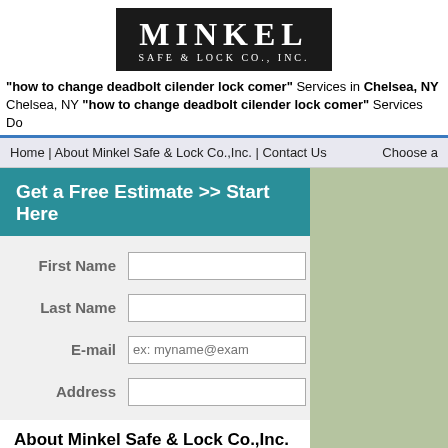[Figure (logo): Minkel Safe & Lock Co., Inc. logo — white text on black background]
"how to change deadbolt cilender lock comer" Services in Chelsea, NY Chelsea, NY "how to change deadbolt cilender lock comer" Services Do
Home | About Minkel Safe & Lock Co.,Inc. | Contact Us   Choose a
Get a Free Estimate >> Start Here
First Name (input field)
Last Name (input field)
E-mail (ex: myname@exam)
Address (input field)
About Minkel Safe & Lock Co.,Inc.
Minkel Safe & Lock Co.,Inc. is a full service security and locksmith center providing you with how to change deadbolt cilender lock comer services within the Chelsea, NY area. We off a broader range of how to change deadbolt cilender lock comer services in the Chelsea, NY area and